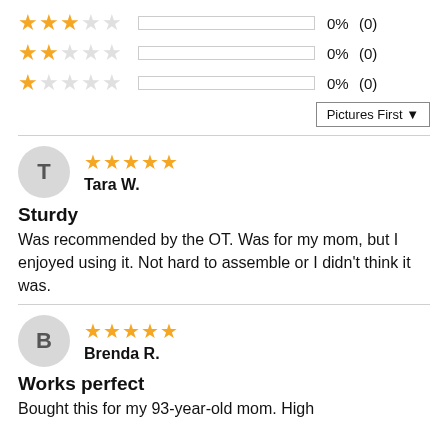[Figure (infographic): 3-star rating row: 0% (0)]
[Figure (infographic): 2-star rating row: 0% (0)]
[Figure (infographic): 1-star rating row: 0% (0)]
Pictures First ▼
T  Tara W. ★★★★★  Sturdy  Was recommended by the OT. Was for my mom, but I enjoyed using it. Not hard to assemble or I didn't think it was.
B  Brenda R. ★★★★★  Works perfect  Bought this for my 93-year-old mom. High